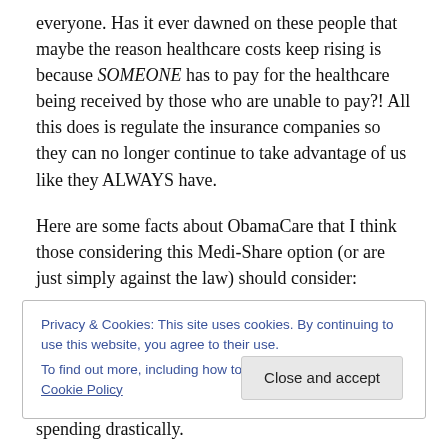everyone. Has it ever dawned on these people that maybe the reason healthcare costs keep rising is because SOMEONE has to pay for the healthcare being received by those who are unable to pay?! All this does is regulate the insurance companies so they can no longer continue to take advantage of us like they ALWAYS have.
Here are some facts about ObamaCare that I think those considering this Medi-Share option (or are just simply against the law) should consider:
Privacy & Cookies: This site uses cookies. By continuing to use this website, you agree to their use. To find out more, including how to control cookies, see here: Cookie Policy
spending drastically.